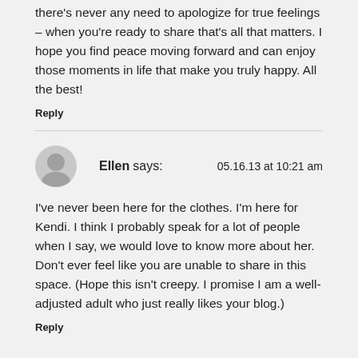reading first each day. While I don't know you personally, there's never any need to apologize for true feelings – when you're ready to share that's all that matters. I hope you find peace moving forward and can enjoy those moments in life that make you truly happy. All the best!
Reply
Ellen says:
05.16.13 at 10:21 am
I've never been here for the clothes. I'm here for Kendi. I think I probably speak for a lot of people when I say, we would love to know more about her. Don't ever feel like you are unable to share in this space. (Hope this isn't creepy. I promise I am a well-adjusted adult who just really likes your blog.)
Reply